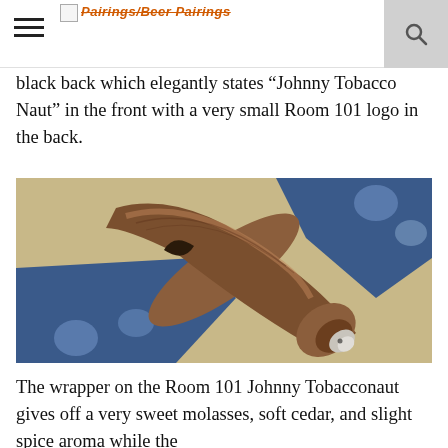Pairings/Beer Pairings
black back which elegantly states "Johnny Tobacco Naut" in the front with a very small Room 101 logo in the back.
[Figure (photo): Close-up photograph of the tip/head of a cigar resting on a blue and white patterned surface, showing the tobacco wrapper texture and cap in detail.]
The wrapper on the Room 101 Johnny Tobacconaut gives off a very sweet molasses, soft cedar, and slight spice aroma while the